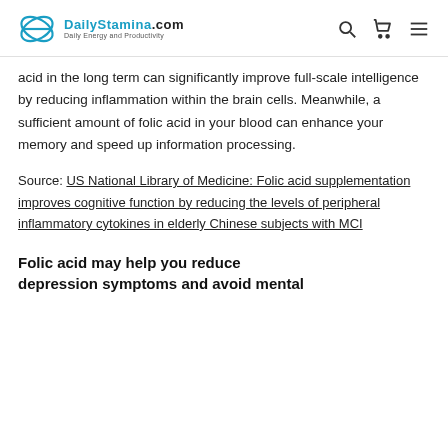DailyStamina.com — Daily Energy and Productivity
acid in the long term can significantly improve full-scale intelligence by reducing inflammation within the brain cells. Meanwhile, a sufficient amount of folic acid in your blood can enhance your memory and speed up information processing.
Source: US National Library of Medicine: Folic acid supplementation improves cognitive function by reducing the levels of peripheral inflammatory cytokines in elderly Chinese subjects with MCI
Folic acid may help you reduce depression symptoms and avoid mental